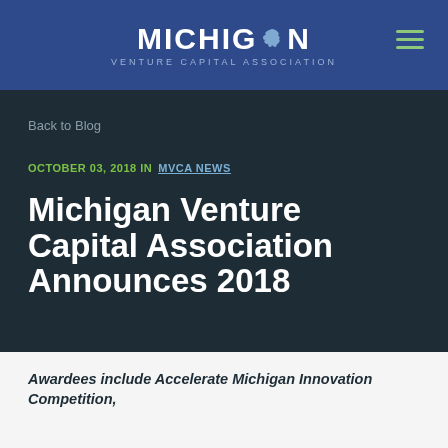[Figure (logo): Michigan Venture Capital Association logo with Michigan state shape icon and hamburger menu icon]
Back to Blog
OCTOBER 03, 2018 IN  MVCA NEWS
Michigan Venture Capital Association Announces 2018
Awardees include Accelerate Michigan Innovation Competition,